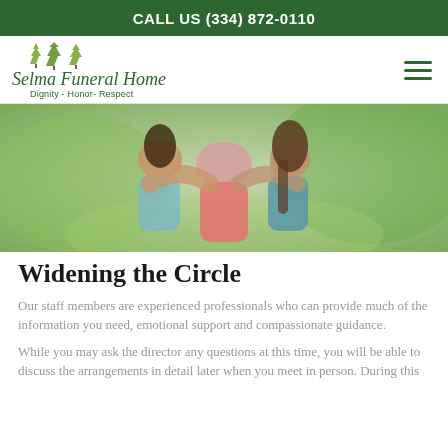CALL US (334) 872-0110
[Figure (logo): Selma Funeral Home logo with trees and tagline 'Dignity - Honor- Respect']
[Figure (photo): Three people hugging each other outdoors, blurred green background]
Widening the Circle
Our staff members are experienced professionals who can provide much of the information you need, emotional support and compassionate guidance.
While you may ask the director any questions at this time, you will be able to discuss the arrangements in detail later when you meet in person. During this